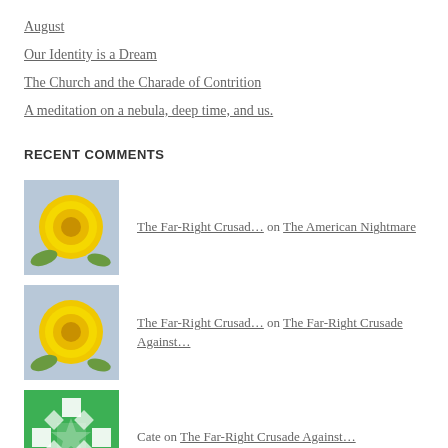August
Our Identity is a Dream
The Church and the Charade of Contrition
A meditation on a nebula, deep time, and us.
RECENT COMMENTS
The Far-Right Crusad… on The American Nightmare
The Far-Right Crusad… on The Far-Right Crusade Against…
Cate on The Far-Right Crusade Against…
What I Would Tell A… on The American Nightmare
Fascism is Intention… on Fascism is Intentional